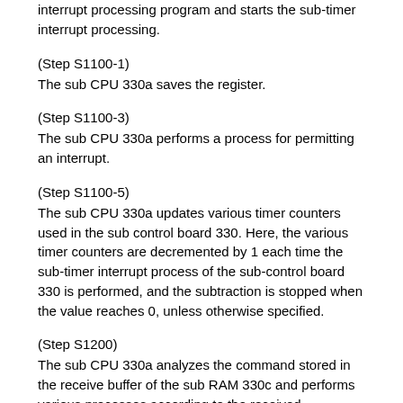interrupt processing program and starts the sub-timer interrupt processing.
(Step S1100-1)
The sub CPU 330a saves the register.
(Step S1100-3)
The sub CPU 330a performs a process for permitting an interrupt.
(Step S1100-5)
The sub CPU 330a updates various timer counters used in the sub control board 330. Here, the various timer counters are decremented by 1 each time the sub-timer interrupt process of the sub-control board 330 is performed, and the subtraction is stopped when the value reaches 0, unless otherwise specified.
(Step S1200)
The sub CPU 330a analyzes the command stored in the receive buffer of the sub RAM 330c and performs various processes according to the received command. In the sub-control board 330, when a command is transmitted from the main control board 300, command reception interrupt processing is performed and the command is transmitted...